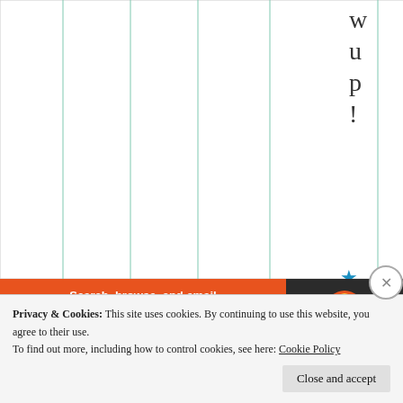[Figure (other): Partial chart area with vertical green lines on white background, cropped at top]
w u p !
Liked by 1 perso
[Figure (other): DuckDuckGo advertisement: Search, browse, and email with more privacy. All in One Free App]
Privacy & Cookies: This site uses cookies. By continuing to use this website, you agree to their use. To find out more, including how to control cookies, see here: Cookie Policy
Close and accept